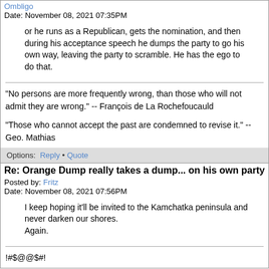Posted by: Ombligo
Date: November 08, 2021 07:35PM
or he runs as a Republican, gets the nomination, and then during his acceptance speech he dumps the party to go his own way, leaving the party to scramble. He has the ego to do that.
“No persons are more frequently wrong, than those who will not admit they are wrong.” -- François de La Rochefoucauld

"Those who cannot accept the past are condemned to revise it." -- Geo. Mathias
Options: Reply • Quote
Re: Orange Dump really takes a dump... on his own party
Posted by: Fritz
Date: November 08, 2021 07:56PM
I keep hoping it'll be invited to the Kamchatka peninsula and never darken our shores.
Again.
!#$@@$#!